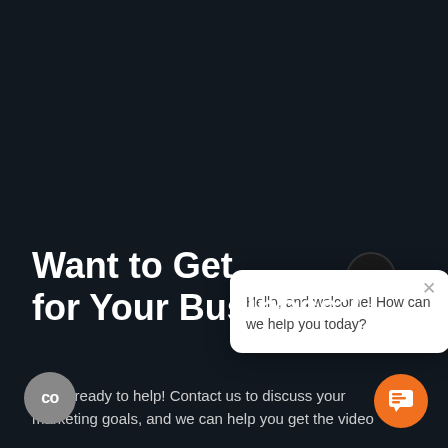[Figure (screenshot): Dark navy background website screenshot with chat widget popup. The popup shows a white rounded rectangle with close X, a circular ninja logo badge on top, and the greeting text. Bottom left has a grey circular badge with 'co'. Bottom right has an orange chat button.]
Want to Get [something] for Your Business?
We're ready to help! Contact us to discuss your marketing goals, and we can help you get the video